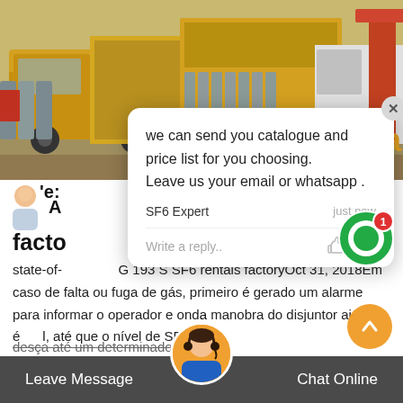[Figure (photo): Industrial scene with yellow trucks, gas cylinders, and construction equipment at an outdoor facility]
we can send you catalogue and price list for you choosing.
Leave us your email or whatsapp .
SF6 Expert    just now
Write a reply..
6China
facto
state-of-  G 193 S SF6 rentals factoryOct 31, 2018Em caso de falta ou fuga de gás, primeiro é gerado um alarme para informar o operador e onde a manobra do disjuntor ainda é  l, até que o nível de SF6
desça até um determinado
Leave Message    Chat Online